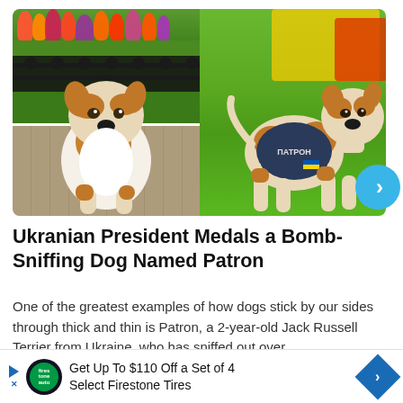[Figure (photo): Two photos of Jack Russell Terrier dogs side by side. Left: a Jack Russell Terrier sitting on cobblestones in front of colorful tulips and black iron fence. Right: a Jack Russell Terrier wearing a dark tactical vest with 'PATRON' text and Ukrainian flag patch, standing on green grass with colorful background.]
Ukranian President Medals a Bomb-Sniffing Dog Named Patron
One of the greatest examples of how dogs stick by our sides through thick and thin is Patron, a 2-year-old Jack Russell Terrier from Ukraine, who has sniffed out over...
Get Up To $110 Off a Set of 4 Select Firestone Tires